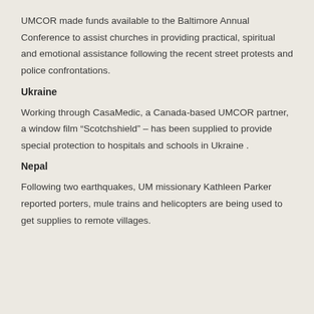UMCOR made funds available to the Baltimore Annual Conference to assist churches in providing practical, spiritual and emotional assistance following the recent street protests and police confrontations.
Ukraine
Working through CasaMedic, a Canada-based UMCOR partner, a window film “Scotchshield” – has been supplied to provide special protection to hospitals and schools in Ukraine .
Nepal
Following two earthquakes, UM missionary Kathleen Parker reported porters, mule trains and helicopters are being used to get supplies to remote villages.